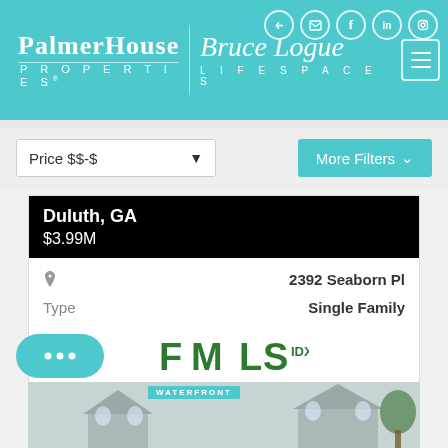[Figure (screenshot): PalmerHouse Properties and Bruce Logue Lifespaces logo header on teal background with social media icons]
Price $$-$
More Filters
Duluth, GA
$3.99M
2392 Seaborn Pl
Type
Single Family
[Figure (logo): FMLS IDX logo in green]
WATERFRONT